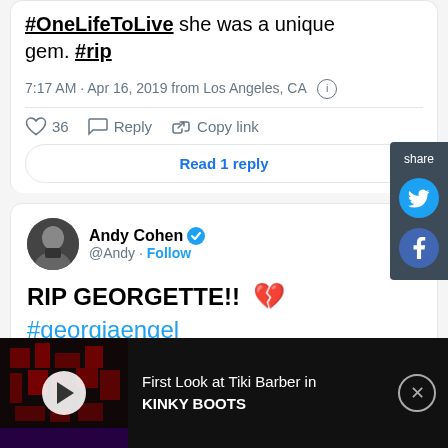#OneLifeToLive She was a unique gem. #rip
7:17 AM · Apr 16, 2019 from Los Angeles, CA
36  Reply  Copy link
Read 1 reply
Andy Cohen @Andy · Follow
RIP GEORGETTE!! 💔 #georgiaengel
9:37 AM · Apr 16, 2019
[Figure (screenshot): Share sidebar with Twitter and Facebook share buttons]
[Figure (screenshot): Video ad bar at bottom: First Look at Tiki Barber in KINKY BOOTS]